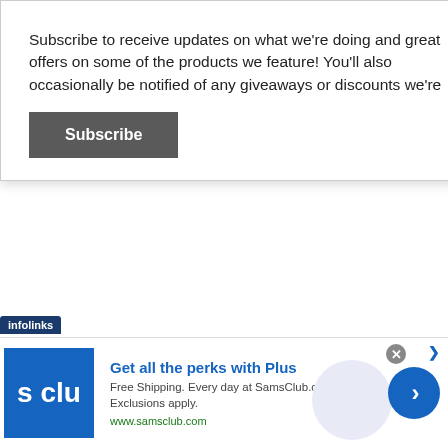Subscribe to receive updates on what we're doing and great offers on some of the products we feature! You'll also occasionally be notified of any giveaways or discounts we're
Subscribe
still walk away with a lot more knowledge than you had before you came in. It is indeed a win-win situation for you, in every single way.
And if you decide to become a member my God, it's less than a good cup of coffee per
[Figure (screenshot): Sam's Club advertisement banner: 'Get all the perks with Plus. Free Shipping. Every day at SamsClub.com. Exclusions apply. www.samsclub.com' with infolinks tag and blue S Clu logo.]